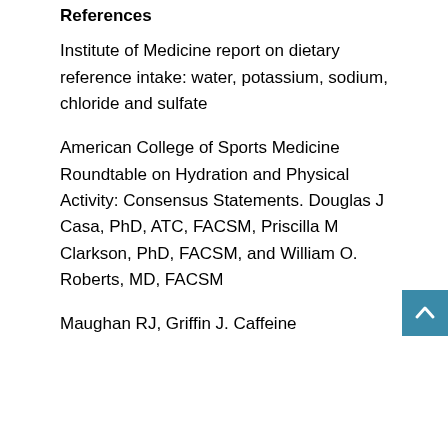References
Institute of Medicine report on dietary reference intake: water, potassium, sodium, chloride and sulfate
American College of Sports Medicine Roundtable on Hydration and Physical Activity: Consensus Statements. Douglas J Casa, PhD, ATC, FACSM, Priscilla M Clarkson, PhD, FACSM, and William O. Roberts, MD, FACSM
Maughan RJ, Griffin J. Caffeine